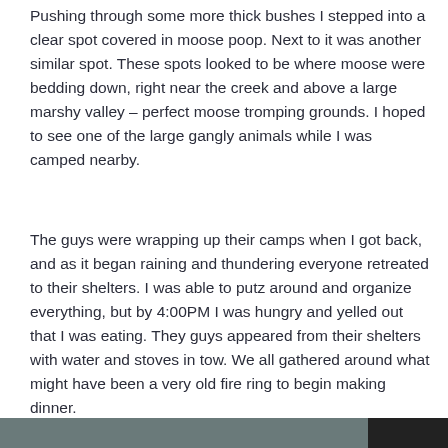Pushing through some more thick bushes I stepped into a clear spot covered in moose poop. Next to it was another similar spot. These spots looked to be where moose were bedding down, right near the creek and above a large marshy valley – perfect moose tromping grounds. I hoped to see one of the large gangly animals while I was camped nearby.
The guys were wrapping up their camps when I got back, and as it began raining and thundering everyone retreated to their shelters. I was able to putz around and organize everything, but by 4:00PM I was hungry and yelled out that I was eating. They guys appeared from their shelters with water and stoves in tow. We all gathered around what might have been a very old fire ring to begin making dinner.
[Figure (photo): Partial view of two photo thumbnails at the bottom of the page, mostly cropped off.]